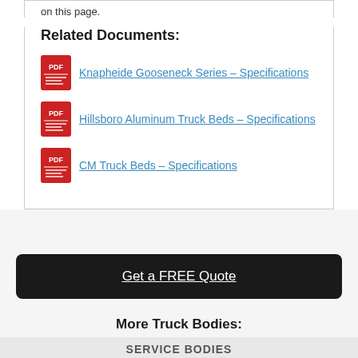on this page.
Related Documents:
Knapheide Gooseneck Series – Specifications
Hillsboro Aluminum Truck Beds – Specifications
CM Truck Beds – Specifications
Get a FREE Quote
More Truck Bodies:
SERVICE BODIES